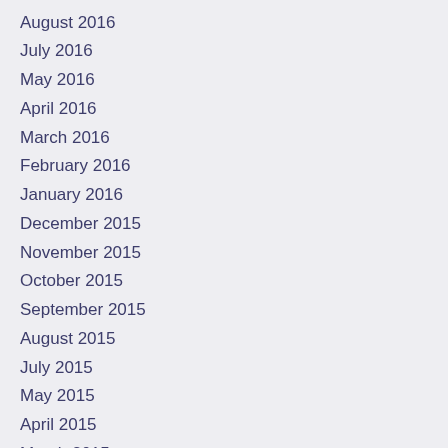August 2016
July 2016
May 2016
April 2016
March 2016
February 2016
January 2016
December 2015
November 2015
October 2015
September 2015
August 2015
July 2015
May 2015
April 2015
March 2015
February 2015
December 2014
November 2014
October 2014
September 2014